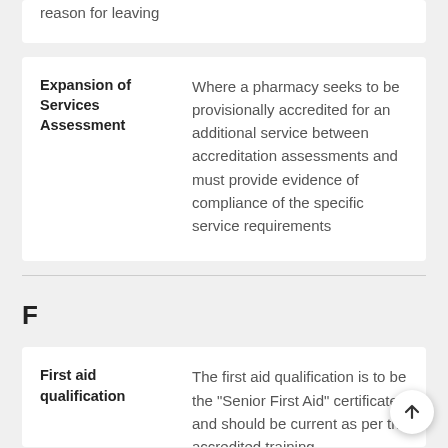reason for leaving
Expansion of Services Assessment
Where a pharmacy seeks to be provisionally accredited for an additional service between accreditation assessments and must provide evidence of compliance of the specific service requirements
F
First aid qualification
The first aid qualification is to be the “Senior First Aid” certificate and should be current as per the accredited training